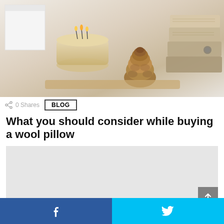[Figure (photo): Cozy home scene with a lit candle in a glass jar, a pine cone, stacked knit sweaters or blankets, and a white box in soft warm tones]
0 Shares
BLOG
What you should consider while buying a wool pillow
[Figure (other): Advertisement placeholder area (light gray rectangle)]
Facebook share | Twitter share